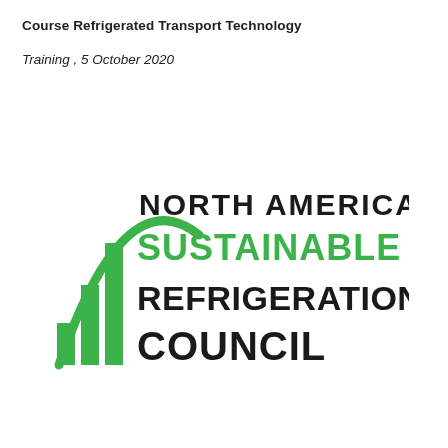Course Refrigerated Transport Technology
Training , 5 October 2020
[Figure (logo): North American Sustainable Refrigeration Council logo with green bar chart icon and green arc, black and green text]